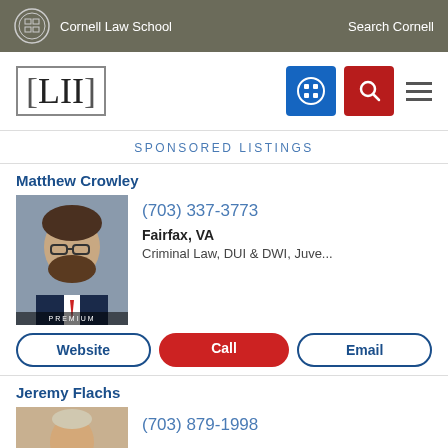Cornell Law School | Search Cornell
[Figure (logo): LII Legal Information Institute logo with navigation icons]
SPONSORED LISTINGS
Matthew Crowley
[Figure (photo): Professional headshot of Matthew Crowley with PREMIUM badge]
(703) 337-3773
Fairfax, VA
Criminal Law, DUI & DWI, Juve...
Website | Call | Email
Jeremy Flachs
(703) 879-1998